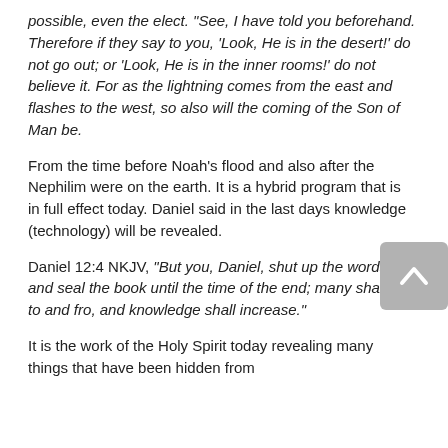possible, even the elect. "See, I have told you beforehand. Therefore if they say to you, 'Look, He is in the desert!' do not go out; or 'Look, He is in the inner rooms!' do not believe it. For as the lightning comes from the east and flashes to the west, so also will the coming of the Son of Man be.
From the time before Noah's flood and also after the Nephilim were on the earth. It is a hybrid program that is in full effect today. Daniel said in the last days knowledge (technology) will be revealed.
Daniel 12:4 NKJV, "But you, Daniel, shut up the words, and seal the book until the time of the end; many shall run to and fro, and knowledge shall increase."
It is the work of the Holy Spirit today revealing many things that have been hidden from